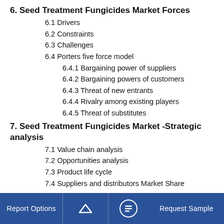6. Seed Treatment Fungicides Market Forces
6.1 Drivers
6.2 Constraints
6.3 Challenges
6.4 Porters five force model
6.4.1 Bargaining power of suppliers
6.4.2 Bargaining powers of customers
6.4.3 Threat of new entrants
6.4.4 Rivalry among existing players
6.4.5 Threat of substitutes
7. Seed Treatment Fungicides Market -Strategic analysis
7.1 Value chain analysis
7.2 Opportunities analysis
7.3 Product life cycle
7.4 Suppliers and distributors Market Share
Report Options   ^   Request Sample